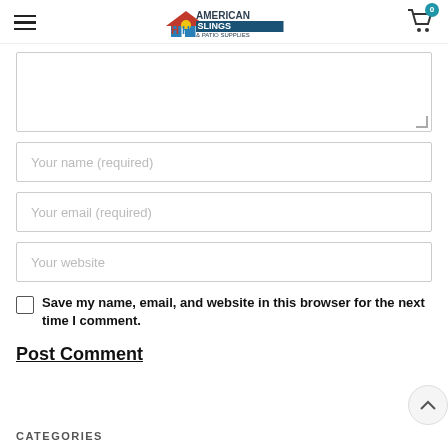American Slings & Patio Supplies
[Comment textarea]
Your name (required)
Your email (required)
Your website
Save my name, email, and website in this browser for the next time I comment.
Post Comment
CATEGORIES